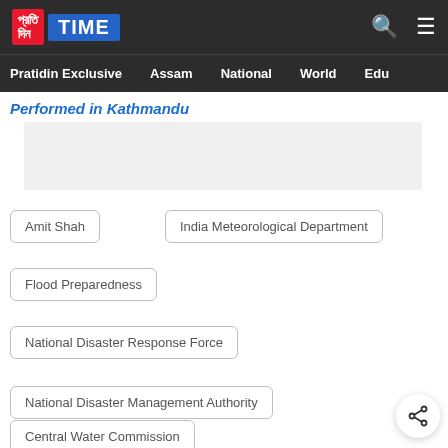Pratidin TIME — Pratidin Exclusive | Assam | National | World | Edu
Performed in Kathmandu
[Figure (other): Advertisement placeholder box (light grey)]
Amit Shah
India Meteorological Department
Flood Preparedness
National Disaster Response Force
National Disaster Management Authority
Central Water Commission